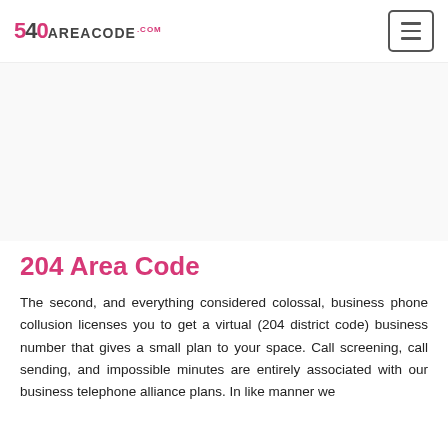540AREACODE.com
[Figure (other): Advertisement / banner space (blank)]
204 Area Code
The second, and everything considered colossal, business phone collusion licenses you to get a virtual (204 district code) business number that gives a small plan to your space. Call screening, call sending, and impossible minutes are entirely associated with our business telephone alliance plans. In like manner we